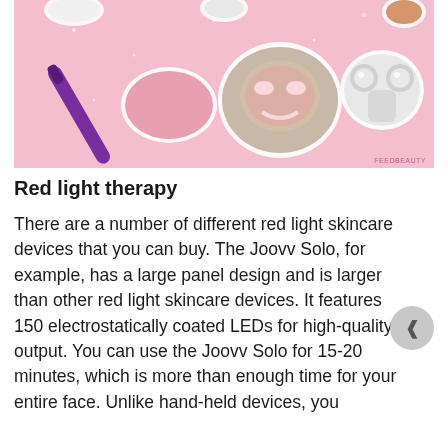[Figure (photo): A product flatlay photo on a pink background showing various skincare devices including a LED face mask, a gua sha stone, a purple hair/facial tool, a NuFACE microcurrent device, and other beauty gadgets on a sparkly pink background.]
Red light therapy
There are a number of different red light skincare devices that you can buy. The Joovv Solo, for example, has a large panel design and is larger than other red light skincare devices. It features 150 electrostatically coated LEDs for high-quality output. You can use the Joovv Solo for 15-20 minutes, which is more than enough time for your entire face. Unlike hand-held devices, you